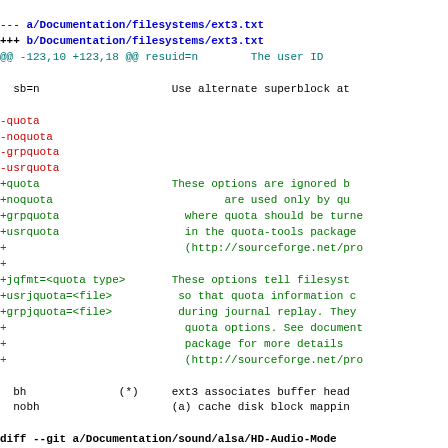--- a/Documentation/filesystems/ext3.txt
+++ b/Documentation/filesystems/ext3.txt
@@ -123,10 +123,18 @@ resuid=n        The user ID
sb=n                    Use alternate superblock at
-quota
-noquota
-grpquota
-usrquota
+quota                    These options are ignored b
+noquota                          are used only by qu
+grpquota                   where quota should be turne
+usrquota                   in the quota-tools package
+                           (http://sourceforge.net/pro
+
+jqfmt=<quota type>       These options tell filesyst
+usrjquota=<file>          so that quota information c
+grpjquota=<file>          during journal replay. They
+                           quota options. See document
+                           package for more details
+                           (http://sourceforge.net/pro
bh              (*)     ext3 associates buffer head
  nobh                    (a) cache disk block mappin
diff --git a/Documentation/sound/alsa/HD-Audio-Mode
index 75fddb40f416..4c7f9aee5c4e 100644
--- a/Documentation/sound/alsa/HD-Audio-Models.txt
+++ b/Documentation/sound/alsa/HD-Audio-Models.txt
@@ -359,6 +359,7 @@ STAC9227/9228/9229/927x